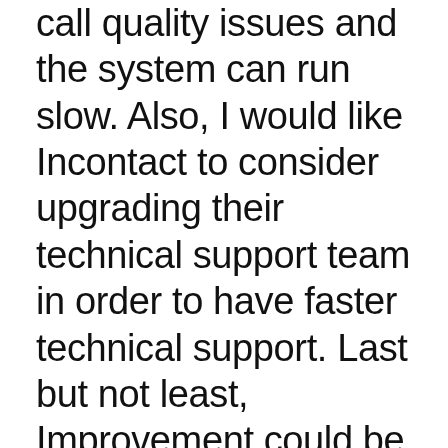call quality issues and the system can run slow. Also, I would like Incontact to consider upgrading their technical support team in order to have faster technical support. Last but not least, Improvement could be made in the appearance of Incontact interface.